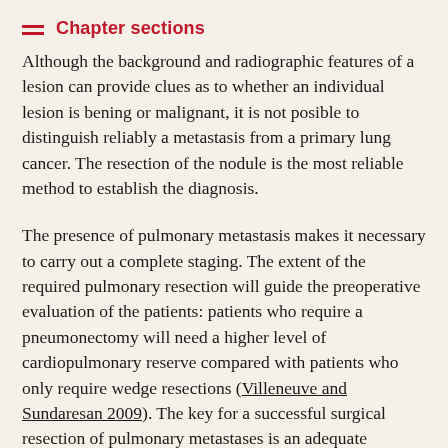Chapter sections
Although the background and radiographic features of a lesion can provide clues as to whether an individual lesion is bening or malignant, it is not posible to distinguish reliably a metastasis from a primary lung cancer. The resection of the nodule is the most reliable method to establish the diagnosis.
The presence of pulmonary metastasis makes it necessary to carry out a complete staging. The extent of the required pulmonary resection will guide the preoperative evaluation of the patients: patients who require a pneumonectomy will need a higher level of cardiopulmonary reserve compared with patients who only require wedge resections (Villeneuve and Sundaresan 2009). The key for a successful surgical resection of pulmonary metastases is an adequate selection of the patient